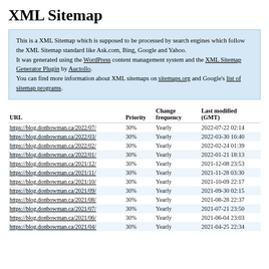XML Sitemap
This is a XML Sitemap which is supposed to be processed by search engines which follow the XML Sitemap standard like Ask.com, Bing, Google and Yahoo.
It was generated using the WordPress content management system and the XML Sitemap Generator Plugin by Auctollo.
You can find more information about XML sitemaps on sitemaps.org and Google's list of sitemap programs.
| URL | Priority | Change frequency | Last modified (GMT) |
| --- | --- | --- | --- |
| https://blog.donbowman.ca/2022/07/ | 30% | Yearly | 2022-07-22 02:14 |
| https://blog.donbowman.ca/2022/03/ | 30% | Yearly | 2022-03-30 16:40 |
| https://blog.donbowman.ca/2022/02/ | 30% | Yearly | 2022-02-24 01:39 |
| https://blog.donbowman.ca/2022/01/ | 30% | Yearly | 2022-01-21 18:13 |
| https://blog.donbowman.ca/2021/12/ | 30% | Yearly | 2021-12-08 23:53 |
| https://blog.donbowman.ca/2021/11/ | 30% | Yearly | 2021-11-28 03:30 |
| https://blog.donbowman.ca/2021/10/ | 30% | Yearly | 2021-10-09 22:17 |
| https://blog.donbowman.ca/2021/09/ | 30% | Yearly | 2021-09-30 02:15 |
| https://blog.donbowman.ca/2021/08/ | 30% | Yearly | 2021-08-28 22:37 |
| https://blog.donbowman.ca/2021/07/ | 30% | Yearly | 2021-07-21 23:50 |
| https://blog.donbowman.ca/2021/06/ | 30% | Yearly | 2021-06-04 23:03 |
| https://blog.donbowman.ca/2021/04/ | 30% | Yearly | 2021-04-25 22:34 |